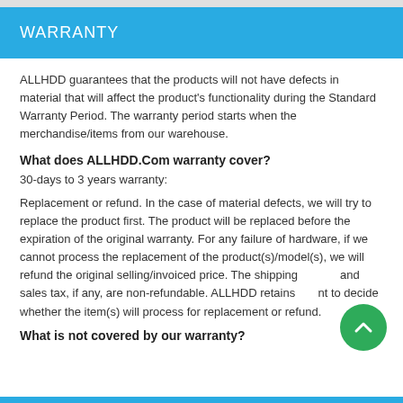WARRANTY
ALLHDD guarantees that the products will not have defects in material that will affect the product's functionality during the Standard Warranty Period. The warranty period starts when the merchandise/items from our warehouse.
What does ALLHDD.Com warranty cover?
30-days to 3 years warranty:
Replacement or refund. In the case of material defects, we will try to replace the product first. The product will be replaced before the expiration of the original warranty. For any failure of hardware, if we cannot process the replacement of the product(s)/model(s), we will refund the original selling/invoiced price. The shipping and sales tax, if any, are non-refundable. ALLHDD retains the right to decide whether the item(s) will process for replacement or refund.
What is not covered by our warranty?